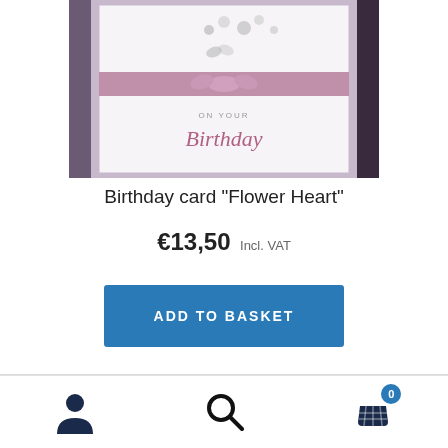[Figure (photo): Birthday card with 'Flower Heart' design showing a white card with purple ribbon bow and 'On Your Birthday' text in script]
Birthday card "Flower Heart"
€13,50 Incl. VAT
ADD TO BASKET
[Figure (other): Partially visible related product images at bottom]
Navigation bar with user account icon, search icon, and basket icon with badge showing 0